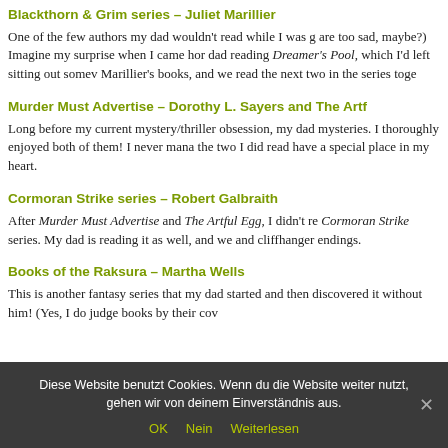Blackthorn & Grim series – Juliet Marillier
One of the few authors my dad wouldn't read while I was g are too sad, maybe?) Imagine my surprise when I came hor dad reading Dreamer's Pool, which I'd left sitting out somev Marillier's books, and we read the next two in the series toge
Murder Must Advertise – Dorothy L. Sayers and The Artf
Long before my current mystery/thriller obsession, my dad mysteries. I thoroughly enjoyed both of them! I never mana the two I did read have a special place in my heart.
Cormoran Strike series – Robert Galbraith
After Murder Must Advertise and The Artful Egg, I didn't re Cormoran Strike series. My dad is reading it as well, and we and cliffhanger endings.
Books of the Raksura – Martha Wells
This is another fantasy series that my dad started and then discovered it without him! (Yes, I do judge books by their cov
Diese Website benutzt Cookies. Wenn du die Website weiter nutzt, gehen wir von deinem Einverständnis aus.